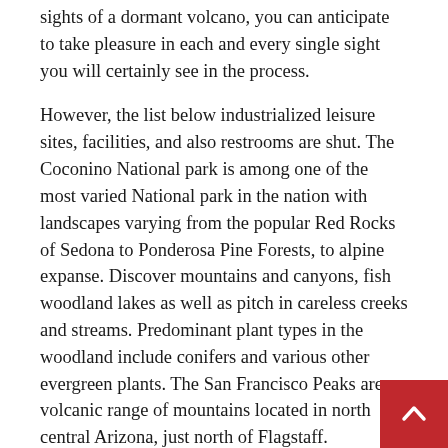sights of a dormant volcano, you can anticipate to take pleasure in each and every single sight you will certainly see in the process.
However, the list below industrialized leisure sites, facilities, and also restrooms are shut. The Coconino National park is among one of the most varied National park in the nation with landscapes varying from the popular Red Rocks of Sedona to Ponderosa Pine Forests, to alpine expanse. Discover mountains and canyons, fish woodland lakes as well as pitch in careless creeks and streams. Predominant plant types in the woodland include conifers and various other evergreen plants. The San Francisco Peaks are a volcanic range of mountains located in north central Arizona, just north of Flagstaff.
However, the spike in woodland visitation additionally had some drawbacks. KNAU's Melissa Sevigny spoke with Coconino National Forest ranger Matt McGrath concerning several of the troubles attached to the boost.